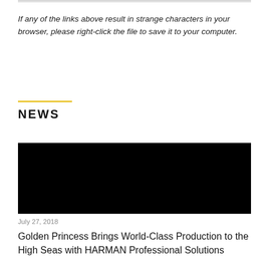If any of the links above result in strange characters in your browser, please right-click the file to save it to your computer.
NEWS
[Figure (photo): Black rectangular image placeholder for news article]
July 27, 2018
Golden Princess Brings World-Class Production to the High Seas with HARMAN Professional Solutions